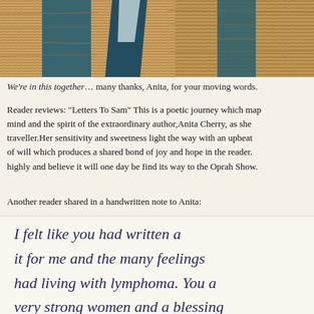[Figure (illustration): Artwork showing textured fabric or tapestry in teal/navy and golden/tan colors, partial human figure visible]
We're in this together… many thanks, Anita, for your moving words.
Reader reviews: "Letters To Sam" This is a poetic journey which maps the mind and the spirit of the extraordinary author, Anita Cherry, as she travels as a traveller. Her sensitivity and sweetness light the way with an upbeat strength of will which produces a shared bond of joy and hope in the reader. I recommend it highly and believe it will one day be find its way to the Oprah Show.
Another reader shared in a handwritten note to Anita:
[Figure (photo): Handwritten note on cream paper in dark blue ink reading: I felt like you had written it for me and the many feelings had living with lymphoma. You a very strong women and a blessing to...]